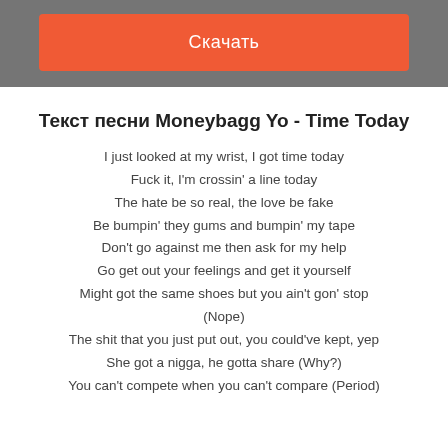[Figure (other): Orange download button labeled 'Скачать' on a grey background bar]
Текст песни Moneybagg Yo - Time Today
I just looked at my wrist, I got time today
Fuck it, I'm crossin' a line today
The hate be so real, the love be fake
Be bumpin' they gums and bumpin' my tape
Don't go against me then ask for my help
Go get out your feelings and get it yourself
Might got the same shoes but you ain't gon' stop (Nope)
The shit that you just put out, you could've kept, yep
She got a nigga, he gotta share (Why?)
You can't compete when you can't compare (Period)